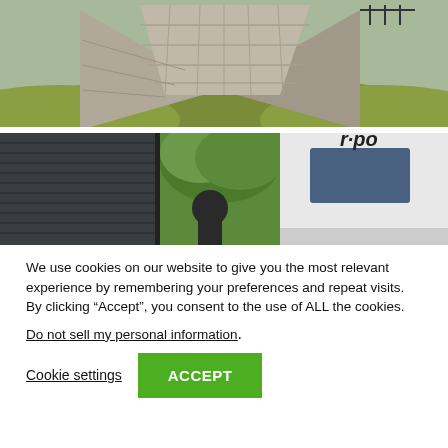[Figure (photo): Panoramic photo of an ancient stone pyramid structure (Mayan/Aztec style) with grassy ground and a railing visible at the top right]
[Figure (photo): Photo of a dark building exterior with siding next to an open bus door, a person visible inside, trees in background, with 'r-po' text visible on the bus]
We use cookies on our website to give you the most relevant experience by remembering your preferences and repeat visits. By clicking “Accept”, you consent to the use of ALL the cookies.
Do not sell my personal information.
Cookie settings
ACCEPT